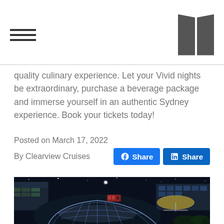[hamburger menu icon] [logo panels icon]
quality culinary experience. Let your Vivid nights be extraordinary, purchase a beverage package and immerse yourself in an authentic Sydney experience. Book your tickets today!
Posted on March 17, 2022
By Clearview Cruises
[Figure (photo): Nighttime photo of a glass-roofed boat/vessel in a harbor with illuminated city buildings in the background and stars visible in the dark sky]
[Figure (other): Facebook Share button and LinkedIn Share button]